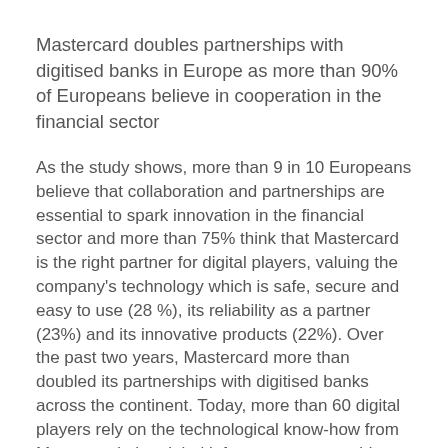Mastercard doubles partnerships with digitised banks in Europe as more than 90% of Europeans believe in cooperation in the financial sector
As the study shows, more than 9 in 10 Europeans believe that collaboration and partnerships are essential to spark innovation in the financial sector and more than 75% think that Mastercard is the right partner for digital players, valuing the company's technology which is safe, secure and easy to use (28 %), its reliability as a partner (23%) and its innovative products (22%). Over the past two years, Mastercard more than doubled its partnerships with digitised banks across the continent. Today, more than 60 digital players rely on the technological know-how from Mastercard, the global infrastructure, a world-wide network to financial institutions and the ability to deliver digital solutions